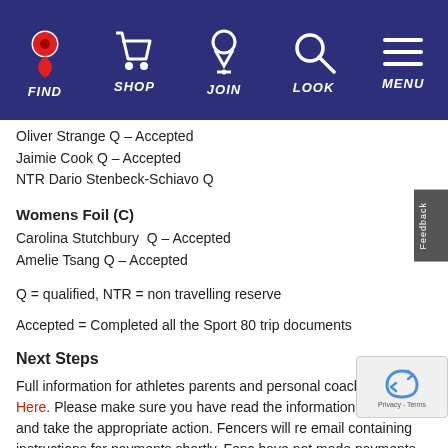FIND | SHOP | JOIN | LOOK | MENU
Oliver Strange Q – Accepted
Jaimie Cook Q – Accepted
NTR Dario Stenbeck-Schiavo Q
Womens Foil (C)
Carolina Stutchbury  Q – Accepted
Amelie Tsang Q – Accepted
Q = qualified, NTR = non travelling reserve
Accepted = Completed all the Sport 80 trip documents
Next Steps
Full information for athletes parents and personal coaches Click Here. Please make sure you have read the information p carefully and take the appropriate action. Fencers will re email containing instructions for payments shortly. Fenc have not made payments will not be confirmed. Any Fencers